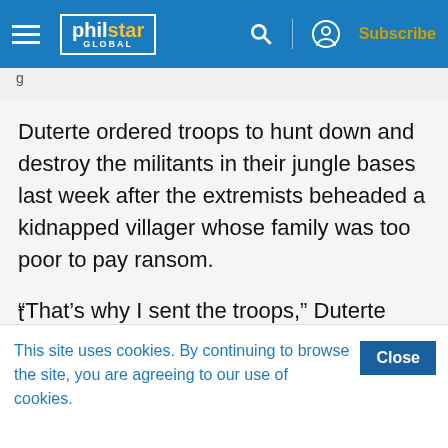philstar GLOBAL — Subscribe
Duterte ordered troops to hunt down and destroy the militants in their jungle bases last week after the extremists beheaded a kidnapped villager whose family was too poor to pay ransom.
“That’s why I sent the troops,” Duterte said, adding he can no longer tolerate the Abu Sayyaf’s barbaric activities.
Informed of the mounting casualties among the
This site uses cookies. By continuing to browse the site, you are agreeing to our use of cookies.